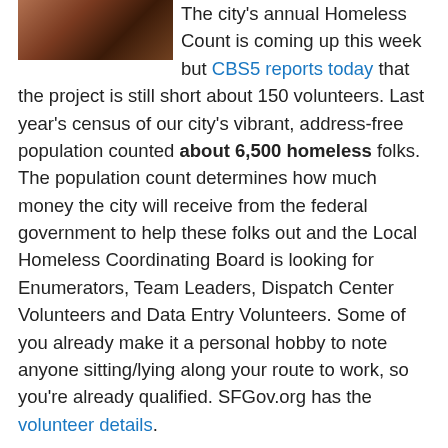[Figure (photo): Partial photo showing what appears to be a person, cropped at top-left corner of the page]
The city's annual Homeless Count is coming up this week but CBS5 reports today that the project is still short about 150 volunteers. Last year's census of our city's vibrant, address-free population counted about 6,500 homeless folks. The population count determines how much money the city will receive from the federal government to help these folks out and the Local Homeless Coordinating Board is looking for Enumerators, Team Leaders, Dispatch Center Volunteers and Data Entry Volunteers. Some of you already make it a personal hobby to note anyone sitting/lying along your route to work, so you're already qualified. SFGov.org has the volunteer details.
[KCBS] [SFGov.org]
VIA SFist